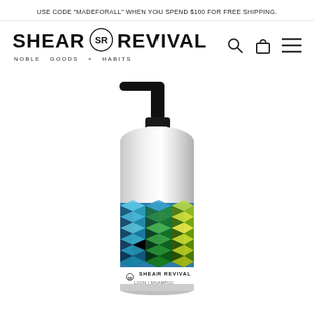USE CODE "MADEFORALL" WHEN YOU SPEND $100 FOR FREE SHIPPING.
SHEAR REVIVAL — NOBLE GOODS + HABITS
[Figure (photo): Shear Revival aluminum pump bottle with geometric blue, teal, green and yellow cube-pattern label and black pump dispenser, showing SHEAR REVIVAL logo on white label at bottom]